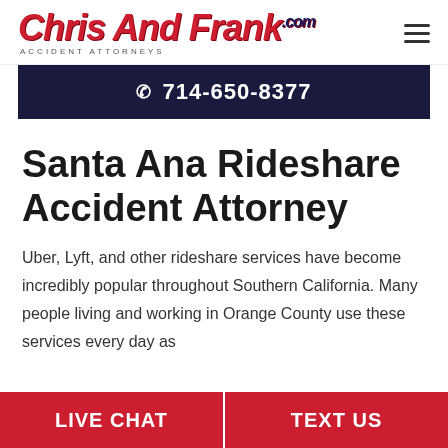ChrisAndFrank.com ACCIDENT ATTORNEYS
☎ 714-650-8377
Santa Ana Rideshare Accident Attorney
Uber, Lyft, and other rideshare services have become incredibly popular throughout Southern California. Many people living and working in Orange County use these services every day as
LIVE CHAT
TEXT US